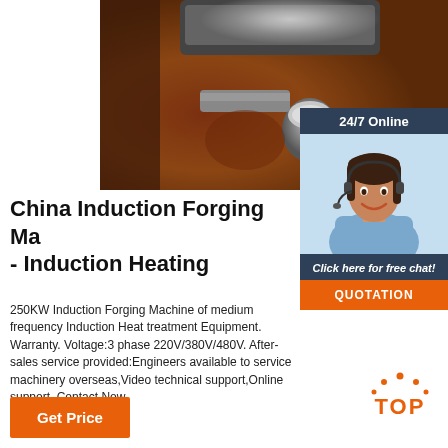[Figure (photo): Close-up photo of metal forging machine components, showing metallic parts and reddish-brown background]
[Figure (photo): 24/7 Online customer service agent - woman with headset smiling, with 'Click here for free chat!' and QUOTATION button]
China Induction Forging Machine - Induction Heating
250KW Induction Forging Machine of medium frequency Induction Heat treatment Equipment. Warranty. Voltage:3 phase 220V/380V/480V. After-sales service provided:Engineers available to service machinery overseas,Video technical support,Online support. Contact Now.
[Figure (other): TOP button with orange dot arc above and orange TOP text]
Get Price